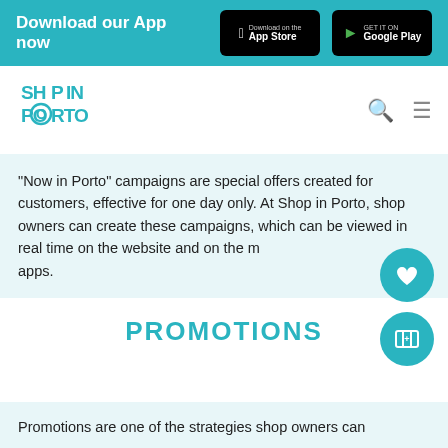Download our App now
[Figure (logo): Shop in Porto logo - teal stylized text logo]
"Now in Porto" campaigns are special offers created for customers, effective for one day only. At Shop in Porto, shop owners can create these campaigns, which can be viewed in real time on the website and on the mobile apps.
PROMOTIONS
Promotions are one of the strategies shop owners can